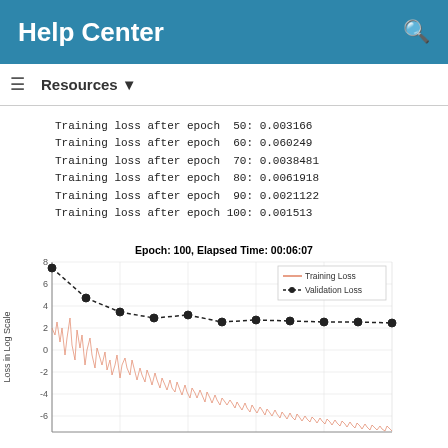Help Center
Resources ▼
Training loss after epoch 50: 0.003166
Training loss after epoch 60: 0.060249
Training loss after epoch 70: 0.0038481
Training loss after epoch 80: 0.0061918
Training loss after epoch 90: 0.0021122
Training loss after epoch 100: 0.001513
[Figure (line-chart): Line chart showing Training Loss (salmon/orange noisy line) and Validation Loss (black dashed line with dots) over 100 epochs. Validation loss starts near 6 and decreases to about 1.2. Training loss is noisy, starting near 1.5 and decreasing toward -4 to -5 range on log scale.]